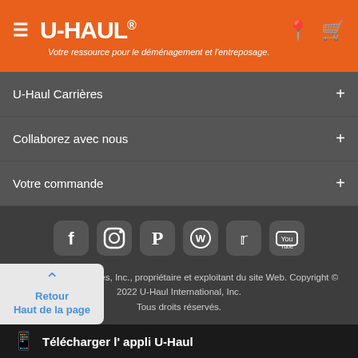U-HAUL® — Votre ressource pour le déménagement et l'entreposage.
U-Haul Carrières +
Collaborez avec nous +
Votre commande +
[Figure (other): Social media icons row: Facebook, Instagram, Pinterest, WordPress, Twitter, YouTube]
Web Team Associates, Inc., propriétaire et exploitant du site Web. Copyright © 2022 U-Haul International, Inc. Tous droits réservés.
Arbitrage  |  Politique de confidentialité  |  Modalités d'utilisation  |
U-Haul Établissements
uhaul.com (ALL) YAML - le 18/08/2022 à 10 h 59 - de 1.410.1
Retour
Haut de la page
Télécharger l' appli U-Haul